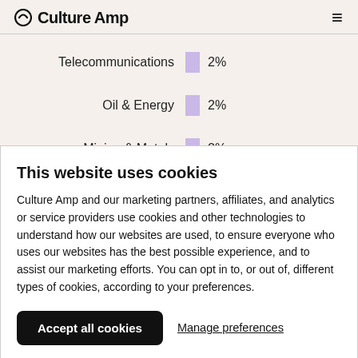Culture Amp
[Figure (bar-chart): Industry breakdown]
This website uses cookies
Culture Amp and our marketing partners, affiliates, and analytics or service providers use cookies and other technologies to understand how our websites are used, to ensure everyone who uses our websites has the best possible experience, and to assist our marketing efforts. You can opt in to, or out of, different types of cookies, according to your preferences.
Accept all cookies | Manage preferences